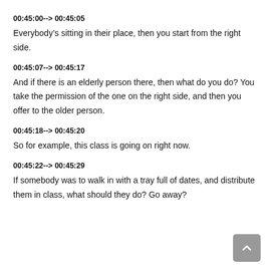00:45:00--> 00:45:05
Everybody's sitting in their place, then you start from the right side.
00:45:07--> 00:45:17
And if there is an elderly person there, then what do you do? You take the permission of the one on the right side, and then you offer to the older person.
00:45:18--> 00:45:20
So for example, this class is going on right now.
00:45:22--> 00:45:29
If somebody was to walk in with a tray full of dates, and distribute them in class, what should they do? Go away?